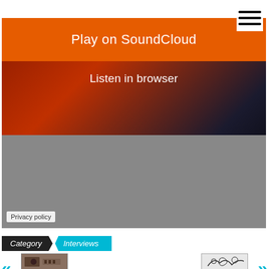[Figure (screenshot): Hamburger menu icon (three horizontal lines) top right corner]
[Figure (screenshot): SoundCloud embedded player with orange 'Play on SoundCloud' button, 'Listen in browser' text, red-hair artist image background, gray waveform/controls area, and Privacy policy label at bottom left]
Category
Interviews
[Figure (photo): Left thumbnail image showing music equipment/band]
[Figure (photo): Right thumbnail image showing illustrated/drawn artwork]